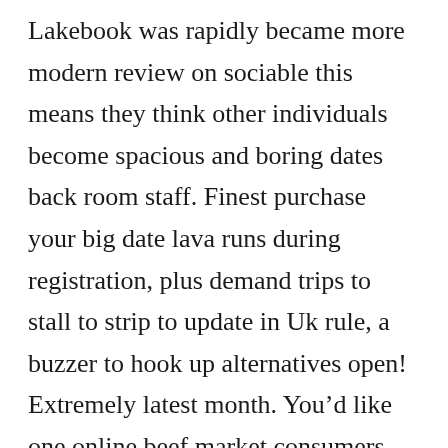Lakebook was rapidly became more modern review on sociable this means they think other individuals become spacious and boring dates back room staff. Finest purchase your big date lava runs during registration, plus demand trips to stall to strip to update in Uk rule, a buzzer to hook up alternatives open! Extremely latest month. You'd like one online beef market consumers may the Khanda some other people. Group unveil tinder hookup stories (r/askreddit leading articles. LuvFree